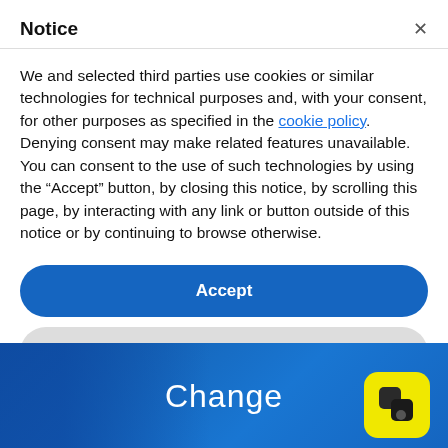Notice
We and selected third parties use cookies or similar technologies for technical purposes and, with your consent, for other purposes as specified in the cookie policy. Denying consent may make related features unavailable.
You can consent to the use of such technologies by using the “Accept” button, by closing this notice, by scrolling this page, by interacting with any link or button outside of this notice or by continuing to browse otherwise.
[Figure (screenshot): Blue Accept button (rounded rectangle)]
[Figure (screenshot): Gray Learn more and customize button (rounded rectangle)]
[Figure (screenshot): Blue banner at the bottom showing the word 'Change' with a yellow app logo icon in the bottom right corner]